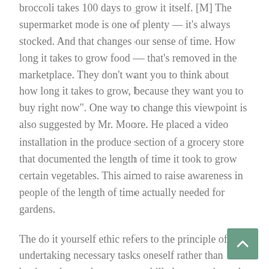broccoli takes 100 days to grow it itself. [M] The supermarket mode is one of plenty — it's always stocked. And that changes our sense of time. How long it takes to grow food — that's removed in the marketplace. They don't want you to think about how long it takes to grow, because they want you to buy right now". One way to change this viewpoint is also suggested by Mr. Moore. He placed a video installation in the produce section of a grocery store that documented the length of time it took to grow certain vegetables. This aimed to raise awareness in people of the length of time actually needed for gardens.
The do it yourself ethic refers to the principle of undertaking necessary tasks oneself rather than having others, who are more skilled or experienced, complete them for you.